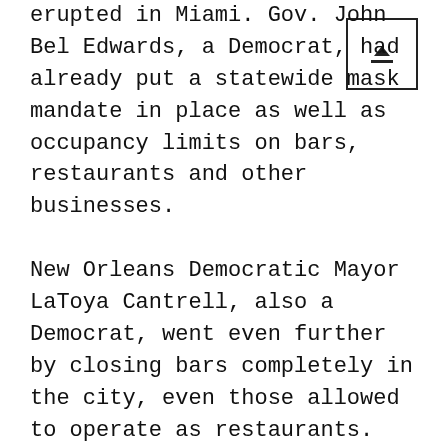erupted in Miami. Gov. John Bel Edwards, a Democrat, had already put a statewide mask mandate in place as well as occupancy limits on bars, restaurants and other businesses.
New Orleans Democratic Mayor LaToya Cantrell, also a Democrat, went even further by closing bars completely in the city, even those allowed to operate as restaurants. City officials also closed iconic Bourbon Street to cars and limited pedestrian access for the final weekend of the season.
Despite strong opposition from Republicans and business leaders, Edwards and Cantrell were determined not to repeat
[Figure (other): Small icon box with an upward arrow above a horizontal line, enclosed in a square border]